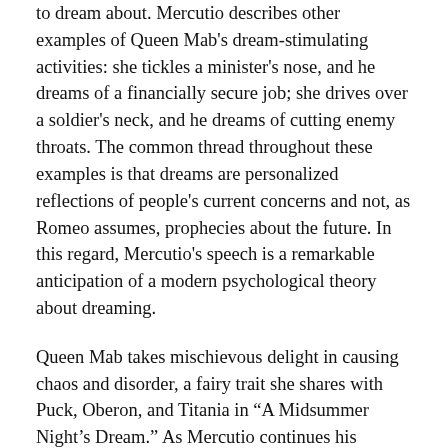to dream about.  Mercutio describes other examples of Queen Mab's dream-stimulating activities: she tickles a minister's nose, and he dreams of a financially secure job; she drives over a soldier's neck, and he dreams of cutting enemy throats.  The common thread throughout these examples is that dreams are personalized reflections of people's current concerns and not, as Romeo assumes, prophecies about the future.  In this regard, Mercutio's speech is a remarkable anticipation of a modern psychological theory about dreaming.
Queen Mab takes mischievous delight in causing chaos and disorder, a fairy trait she shares with Puck, Oberon, and Titania in “A Midsummer Night’s Dream.”  As Mercutio continues his speech, this quality comes to the fore, and at a certain point Mercutio seems to lose control of his own story:
Mercutio: This is the very Mab that plaits the